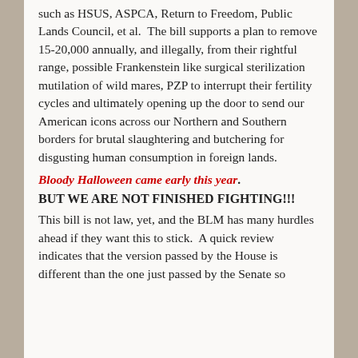such as HSUS, ASPCA, Return to Freedom, Public Lands Council, et al.  The bill supports a plan to remove 15-20,000 annually, and illegally, from their rightful range, possible Frankenstein like surgical sterilization mutilation of wild mares, PZP to interrupt their fertility cycles and ultimately opening up the door to send our American icons across our Northern and Southern borders for brutal slaughtering and butchering for disgusting human consumption in foreign lands.
Bloody Halloween came early this year.
BUT WE ARE NOT FINISHED FIGHTING!!!
This bill is not law, yet, and the BLM has many hurdles ahead if they want this to stick.  A quick review indicates that the version passed by the House is different than the one just passed by the Senate so